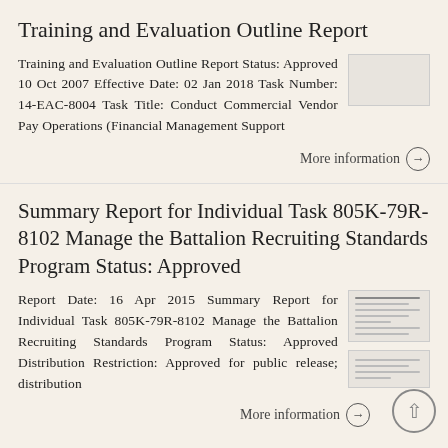Training and Evaluation Outline Report
Training and Evaluation Outline Report Status: Approved 10 Oct 2007 Effective Date: 02 Jan 2018 Task Number: 14-EAC-8004 Task Title: Conduct Commercial Vendor Pay Operations (Financial Management Support
More information →
Summary Report for Individual Task 805K-79R-8102 Manage the Battalion Recruiting Standards Program Status: Approved
Report Date: 16 Apr 2015 Summary Report for Individual Task 805K-79R-8102 Manage the Battalion Recruiting Standards Program Status: Approved Distribution Restriction: Approved for public release; distribution
More information →